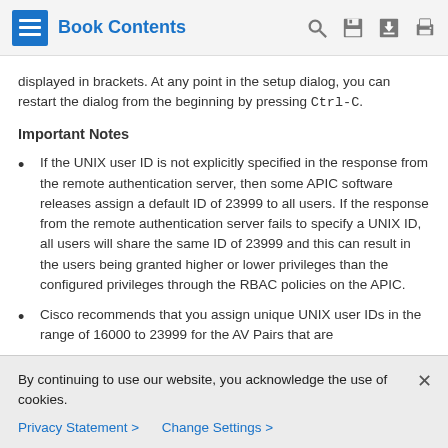Book Contents
displayed in brackets. At any point in the setup dialog, you can restart the dialog from the beginning by pressing Ctrl-C.
Important Notes
If the UNIX user ID is not explicitly specified in the response from the remote authentication server, then some APIC software releases assign a default ID of 23999 to all users. If the response from the remote authentication server fails to specify a UNIX ID, all users will share the same ID of 23999 and this can result in the users being granted higher or lower privileges than the configured privileges through the RBAC policies on the APIC.
Cisco recommends that you assign unique UNIX user IDs in the range of 16000 to 23999 for the AV Pairs that are
By continuing to use our website, you acknowledge the use of cookies.
Privacy Statement > Change Settings >